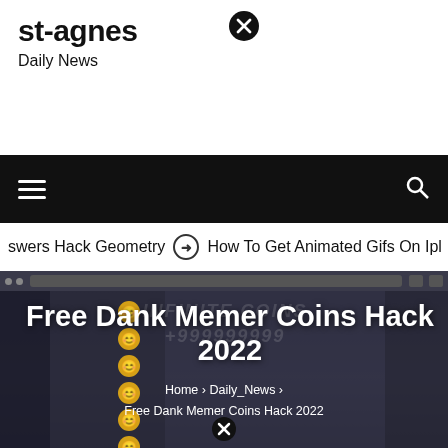st-agnes
Daily News
Navigation bar with hamburger menu and search icon
swers Hack Geometry  ⊙  How To Get Animated Gifs On Ipl
[Figure (screenshot): Hero image showing a Discord server screenshot with a watermark reading INFINITE COINS +999999999, overlaid with article title 'Free Dank Memer Coins Hack 2022' and breadcrumb navigation 'Home > Daily_News > Free Dank Memer Coins Hack 2022']
Free Dank Memer Coins Hack 2022
Home › Daily_News › Free Dank Memer Coins Hack 2022